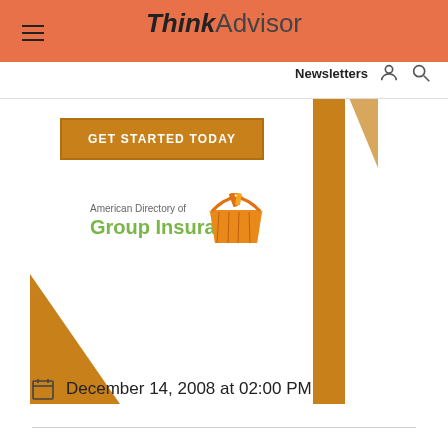ThinkAdvisor — Newsletters
[Figure (illustration): GET STARTED TODAY button (orange background, white bold text) with American Directory of Group Insurance logo and decorative orange geometric shapes]
December 14, 2008 at 02:00 PM